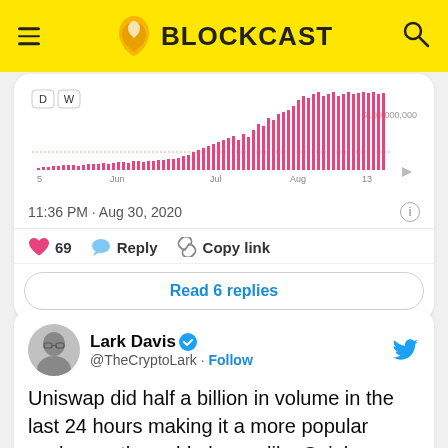[Figure (logo): Blockcast website header with yellow background, hamburger menu, Blockcast logo with AT&T-like icon, and search icon]
[Figure (bar-chart): Bar chart showing Uniswap trading volume from May to mid-August 2020, with bars growing significantly in July-August, reaching near $100,000,000]
11:36 PM · Aug 30, 2020
69  Reply  Copy link
Read 6 replies
Lark Davis @TheCryptoLark · Follow
Uniswap did half a billion in volume in the last 24 hours making it a more popular exchange than old players like Coinbase Pro and Kraken! In fact by most metrics